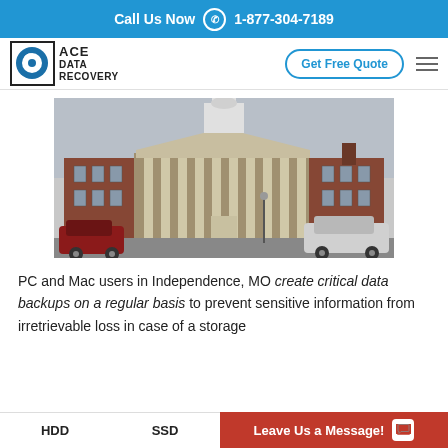Call Us Now 1-877-304-7189
[Figure (logo): Ace Data Recovery logo with circular disc icon and company name]
Get Free Quote
[Figure (photo): Large brick government building with white clock tower/cupola, classical columns at entrance, cars parked in front]
PC and Mac users in Independence, MO create critical data backups on a regular basis to prevent sensitive information from irretrievable loss in case of a storage
HDD   SSD   Leave Us a Message!